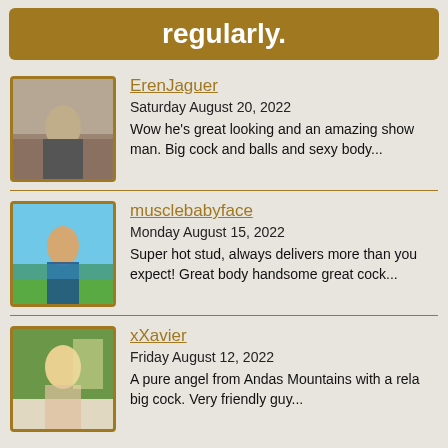regularly.
ErenJaguer
Saturday August 20, 2022
Wow he's great looking and an amazing show man. Big cock and balls and sexy body...
musclebabyface
Monday August 15, 2022
Super hot stud, always delivers more than you expect! Great body handsome great cock...
xXavier
Friday August 12, 2022
A pure angel from Andas Mountains with a rela big cock. Very friendly guy...